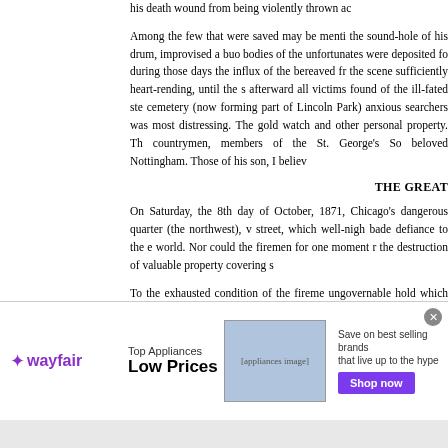his death wound from being violently thrown ac...
Among the few that were saved may be menti... the sound-hole of his drum, improvised a buo... bodies of the unfortunates were deposited fo... during those days the influx of the bereaved fr... the scene sufficiently heart-rending, until the s... afterward all victims found of the ill-fated ste... cemetery (now forming part of Lincoln Park)... anxious searchers was most distressing. The... gold watch and other personal property. Th... countrymen, members of the St. George's So... beloved Nottingham. Those of his son, I believ...
THE GREAT
On Saturday, the 8th day of October, 1871, Chicago's dangerous quarter (the northwest), v... street, which well-nigh bade defiance to the e... world. Nor could the firemen for one moment r... the destruction of valuable property covering s...
To the exhausted condition of the fireme... ungovernable hold which characterized... a...